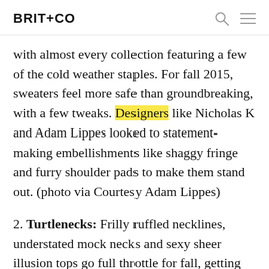BRIT+CO
with almost every collection featuring a few of the cold weather staples. For fall 2015, sweaters feel more safe than groundbreaking, with a few tweaks. Designers like Nicholas K and Adam Lippes looked to statement-making embellishments like shaggy fringe and furry shoulder pads to make them stand out. (photo via Courtesy Adam Lippes)
2. Turtlenecks: Frilly ruffled necklines, understated mock necks and sexy sheer illusion tops go full throttle for fall, getting reworked into cold